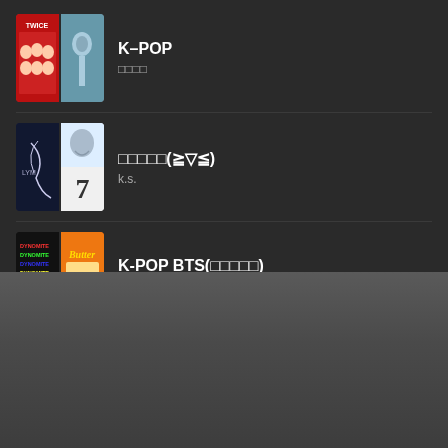K-POP
□□□□
□□□□□(≧▽≦)
k.s.
K-POP BTS(□□□□□)
canna＊*dayo
BTS
□□□□□□□□□□□